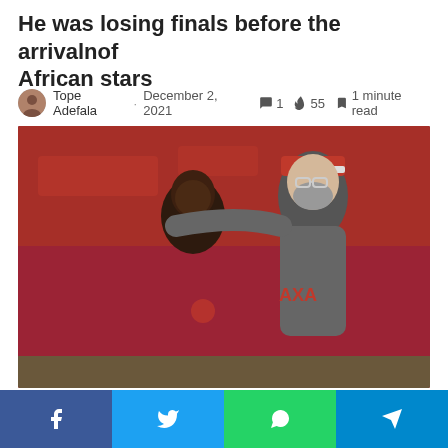He was losing finals before the arrivalnof African stars
Tope Adefala · December 2, 2021 💬1 🔥55 🔖1 minute read
[Figure (photo): Two Liverpool FC players/staff in gray and black Liverpool training kit; one wearing a red Nike cap with arm around the other's shoulder, taken on a football pitch with red stadium background]
[Figure (infographic): Social sharing bar with Facebook, Twitter, WhatsApp, and Telegram buttons]